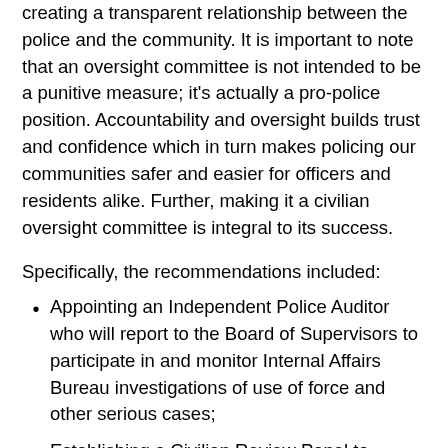creating a transparent relationship between the police and the community. It is important to note that an oversight committee is not intended to be a punitive measure; it's actually a pro-police position. Accountability and oversight builds trust and confidence which in turn makes policing our communities safer and easier for officers and residents alike. Further, making it a civilian oversight committee is integral to its success.
Specifically, the recommendations included:
Appointing an Independent Police Auditor who will report to the Board of Supervisors to participate in and monitor Internal Affairs Bureau investigations of use of force and other serious cases;
Establishing a Civilian Review Panel to respond to community concerns or complaints about alleged abuse of authority incidents by the Fairfax County Police Department;
In addition, the Commission recommends strengthening the independent investigative